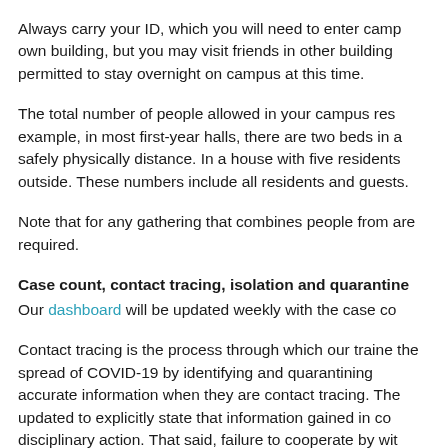Always carry your ID, which you will need to enter campus own building, but you may visit friends in other buildings permitted to stay overnight on campus at this time.
The total number of people allowed in your campus res example, in most first-year halls, there are two beds in a safely physically distance. In a house with five residents outside. These numbers include all residents and guests.
Note that for any gathering that combines people from are required.
Case count, contact tracing, isolation and quarantine
Our dashboard will be updated weekly with the case co
Contact tracing is the process through which our trained the spread of COVID-19 by identifying and quarantining accurate information when they are contact tracing. The updated to explicitly state that information gained in co disciplinary action. That said, failure to cooperate by with